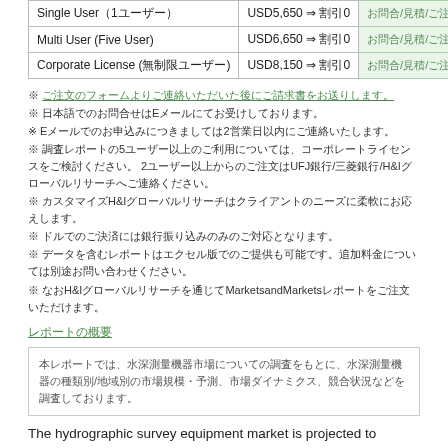|  |  |  |
| --- | --- | --- |
| Single User（1ユーザー） | USD5,650 ⇒ 割引0 | お問合/見積/ご注文はこちら |
| Multi User (Five User) | USD6,650 ⇒ 割引0 | お問合/見積/ご注文はこちら |
| Corporate License (無制限ユーザー) | USD8,150 ⇒ 割引0 | お問合/見積/ご注文はこちら |
※ ご注文のフォームよりご連絡いただいた後にご請求書をお送りします。
※ 日本語でのお問合せはEメールにてお受けしております。
※ Eメールでのお申込みにつきましては2営業日以内にご連絡いたします。
※ 調査レポートの5ユーザー以上のご利用については、コーポレートライセンスをご検討ください。 2ユーザー以上からのご注文はUFJ銀行/三菱銀行/H&Iグローバルリサーチへご連絡ください。
※ カスタマイズH&Iグローバルリサーチはクライアントのニーズに柔軟にお応えします。
※ ドルでのご決済には銀行振り込みのみのご対応となります。
※ データを含むレポートはエクセル版でのご提供も可能です。追加料金については別途お問い合わせください。
※ なおH&Iグローバルリサーチを通じてMarketsandMarketsレポートをご注文いただけます。
レポートの概要
本レポートでは、水深測量機器市場についての調査をもとに、水深測量機器の種類別/地域別の市場規模・予測、市場ダイナミクス、競合状況などを調査しております。
The hydrographic survey equipment market is projected to grow from an estimated USD 2.11 billion in 2017 to USD